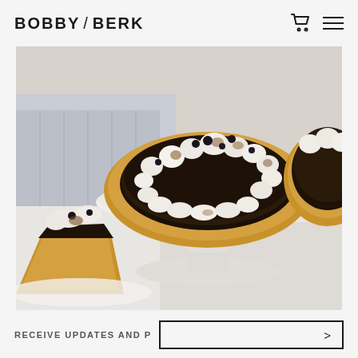BOBBY / BERK
[Figure (photo): A s'mores tart or cheesecake with toasted marshmallows and chocolate ganache filling on a graham cracker crust, displayed on a white marble cake stand. A slice is plated in the foreground on a white plate.]
RECEIVE UPDATES AND P